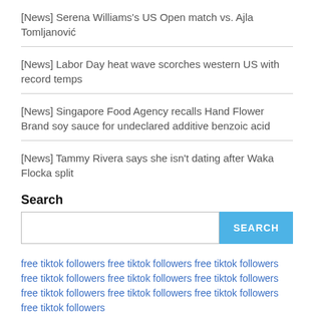[News] Serena Williams's US Open match vs. Ajla Tomljanović
[News] Labor Day heat wave scorches western US with record temps
[News] Singapore Food Agency recalls Hand Flower Brand soy sauce for undeclared additive benzoic acid
[News] Tammy Rivera says she isn't dating after Waka Flocka split
Search
free tiktok followers free tiktok followers free tiktok followers free tiktok followers free tiktok followers free tiktok followers free tiktok followers free tiktok followers free tiktok followers free tiktok followers